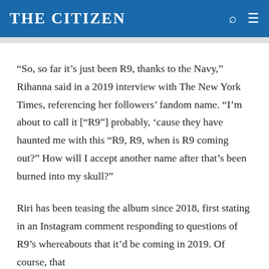THE CITIZEN
“So, so far it’s just been R9, thanks to the Navy,” Rihanna said in a 2019 interview with The New York Times, referencing her followers’ fandom name. “I’m about to call it [“R9”] probably, ‘cause they have haunted me with this “R9, R9, when is R9 coming out?” How will I accept another name after that’s been burned into my skull?”
Riri has been teasing the album since 2018, first stating in an Instagram comment responding to questions of R9’s whereabouts that it’d be coming in 2019. Of course, that